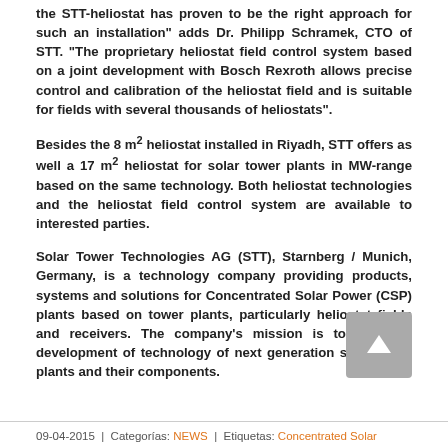the STT-heliostat has proven to be the right approach for such an installation" adds Dr. Philipp Schramek, CTO of STT. "The proprietary heliostat field control system based on a joint development with Bosch Rexroth allows precise control and calibration of the heliostat field and is suitable for fields with several thousands of heliostats".
Besides the 8 m² heliostat installed in Riyadh, STT offers as well a 17 m² heliostat for solar tower plants in MW-range based on the same technology. Both heliostat technologies and the heliostat field control system are available to interested parties.
Solar Tower Technologies AG (STT), Starnberg / Munich, Germany, is a technology company providing products, systems and solutions for Concentrated Solar Power (CSP) plants based on tower plants, particularly heliostat fields and receivers. The company's mission is to lead the development of technology of next generation solar tower plants and their components.
09-04-2015  |  Categorías: NEWS  |  Etiquetas: Concentrated Solar